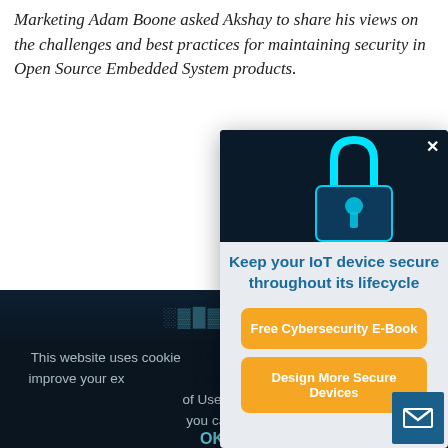Marketing Adam Boone asked Akshay to share his views on the challenges and best practices for maintaining security in Open Source Embedded System products.
read more
[Figure (screenshot): Modal popup with cybersecurity lock image at top, title 'Keep your IoT device secure throughout its lifecycle', two orange CTA buttons: 'Free Cybersecurity E-Book' and 'Design More Secure Devices', and a blue email icon at bottom right]
This website uses cookies to enhance your use of this site and to improve your experience. By using this site, you accept our use of cookies and our Terms of Use. To avoid the collection of your information, you can visit this site with
OK